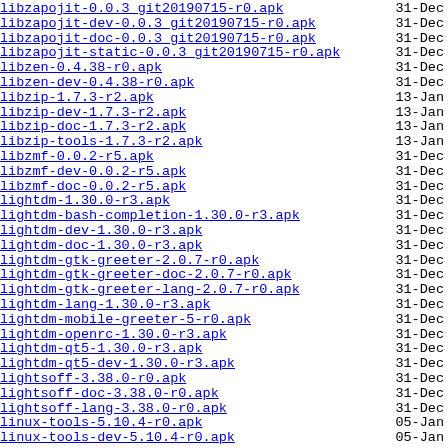libzapojit-0.0.3_git20190715-r0.apk  31-Dec
libzapojit-dev-0.0.3_git20190715-r0.apk  31-Dec
libzapojit-doc-0.0.3_git20190715-r0.apk  31-Dec
libzapojit-static-0.0.3_git20190715-r0.apk  31-Dec
libzen-0.4.38-r0.apk  31-Dec
libzen-dev-0.4.38-r0.apk  31-Dec
libzip-1.7.3-r2.apk  13-Jan
libzip-dev-1.7.3-r2.apk  13-Jan
libzip-doc-1.7.3-r2.apk  13-Jan
libzip-tools-1.7.3-r2.apk  13-Jan
libzmf-0.0.2-r5.apk  31-Dec
libzmf-dev-0.0.2-r5.apk  31-Dec
libzmf-doc-0.0.2-r5.apk  31-Dec
lightdm-1.30.0-r3.apk  31-Dec
lightdm-bash-completion-1.30.0-r3.apk  31-Dec
lightdm-dev-1.30.0-r3.apk  31-Dec
lightdm-doc-1.30.0-r3.apk  31-Dec
lightdm-gtk-greeter-2.0.7-r0.apk  31-Dec
lightdm-gtk-greeter-doc-2.0.7-r0.apk  31-Dec
lightdm-gtk-greeter-lang-2.0.7-r0.apk  31-Dec
lightdm-lang-1.30.0-r3.apk  31-Dec
lightdm-mobile-greeter-5-r0.apk  31-Dec
lightdm-openrc-1.30.0-r3.apk  31-Dec
lightdm-qt5-1.30.0-r3.apk  31-Dec
lightdm-qt5-dev-1.30.0-r3.apk  31-Dec
lightsoff-3.38.0-r0.apk  31-Dec
lightsoff-doc-3.38.0-r0.apk  31-Dec
lightsoff-lang-3.38.0-r0.apk  31-Dec
linux-tools-5.10.4-r0.apk  05-Jan
linux-tools-dev-5.10.4-r0.apk  05-Jan